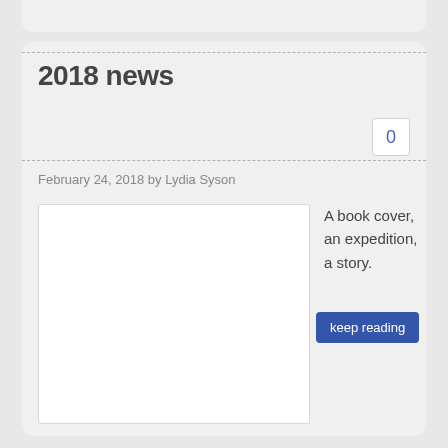2018 news
0
February 24, 2018 by Lydia Syson
[Figure (photo): White empty image placeholder (book cover area)]
A book cover, an expedition, a story.
keep reading